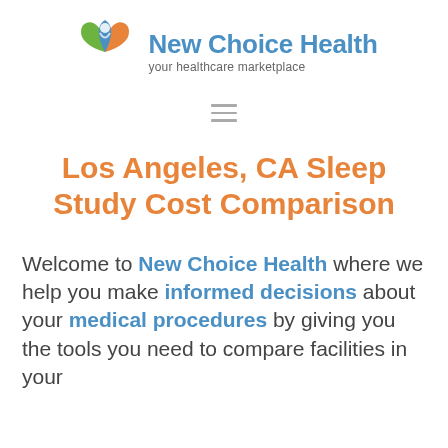[Figure (logo): New Choice Health logo: circular icon with green, orange, and blue segments forming a person silhouette, next to text 'New Choice Health' and tagline 'your healthcare marketplace']
Los Angeles, CA Sleep Study Cost Comparison
Welcome to New Choice Health where we help you make informed decisions about your medical procedures by giving you the tools you need to compare facilities in your